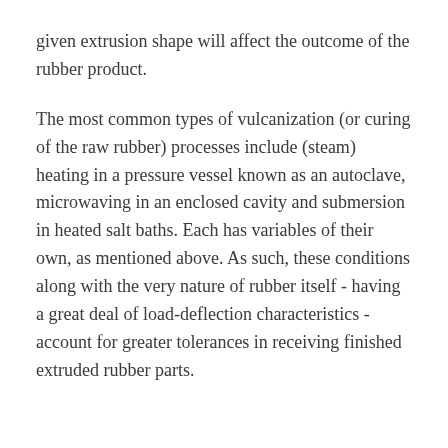given extrusion shape will affect the outcome of the rubber product.
The most common types of vulcanization (or curing of the raw rubber) processes include (steam) heating in a pressure vessel known as an autoclave, microwaving in an enclosed cavity and submersion in heated salt baths. Each has variables of their own, as mentioned above. As such, these conditions along with the very nature of rubber itself - having a great deal of load-deflection characteristics - account for greater tolerances in receiving finished extruded rubber parts.